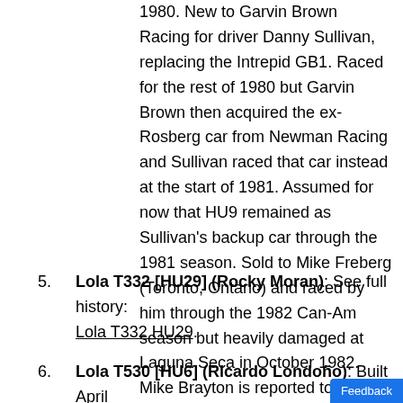1980. New to Garvin Brown Racing for driver Danny Sullivan, replacing the Intrepid GB1. Raced for the rest of 1980 but Garvin Brown then acquired the ex-Rosberg car from Newman Racing and Sullivan raced that car instead at the start of 1981. Assumed for now that HU9 remained as Sullivan's backup car through the 1981 season. Sold to Mike Freberg (Toronto, Ontario) and raced by him through the 1982 Can-Am season but heavily damaged at Laguna Seca in October 1982. Mike Brayton is reported to have bought this car, repaired it and sold it to Burke Ratcliffe but the exact details are not known. Subsequent history unknown.
5. Lola T332 [HU29] (Rocky Moran): See full history: Lola T332 HU29.
6. Lola T530 [HU6] (Ricardo Londoño): Built April